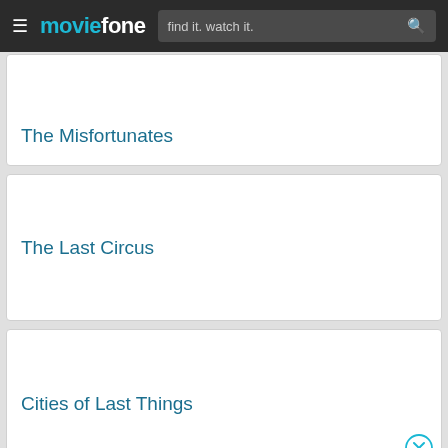moviefone — find it. watch it.
The Misfortunates
The Last Circus
Cities of Last Things